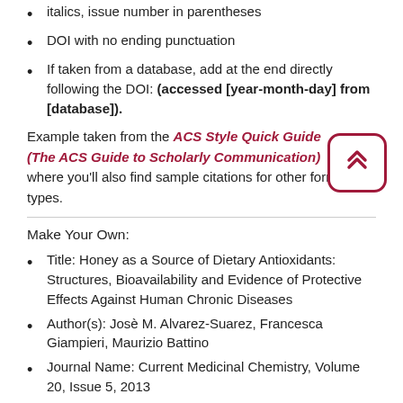italics, issue number in parentheses
DOI with no ending punctuation
If taken from a database, add at the end directly following the DOI: (accessed [year-month-day] from [database]).
Example taken from the ACS Style Quick Guide (The ACS Guide to Scholarly Communication) where you'll also find sample citations for other format types.
Make Your Own:
Title: Honey as a Source of Dietary Antioxidants: Structures, Bioavailability and Evidence of Protective Effects Against Human Chronic Diseases
Author(s): Josè M. Alvarez-Suarez, Francesca Giampieri, Maurizio Battino
Journal Name: Current Medicinal Chemistry, Volume 20, Issue 5, 2013
Pages: 621 – 629